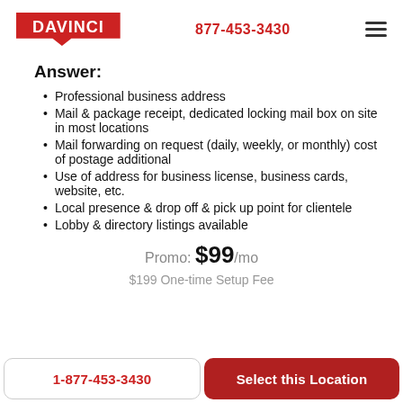DAVINCI | 877-453-3430
Answer:
Professional business address
Mail & package receipt, dedicated locking mail box on site in most locations
Mail forwarding on request (daily, weekly, or monthly) cost of postage additional
Use of address for business license, business cards, website, etc.
Local presence & drop off & pick up point for clientele
Lobby & directory listings available
Promo: $99/mo
$199 One-time Setup Fee
1-877-453-3430
Select this Location